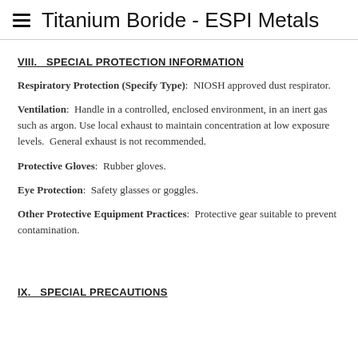Titanium Boride - ESPI Metals
VIII.   SPECIAL PROTECTION INFORMATION
Respiratory Protection (Specify Type):  NIOSH approved dust respirator.
Ventilation:  Handle in a controlled, enclosed environment, in an inert gas such as argon. Use local exhaust to maintain concentration at low exposure levels.  General exhaust is not recommended.
Protective Gloves:  Rubber gloves.
Eye Protection:  Safety glasses or goggles.
Other Protective Equipment Practices:  Protective gear suitable to prevent contamination.
IX.   SPECIAL PRECAUTIONS